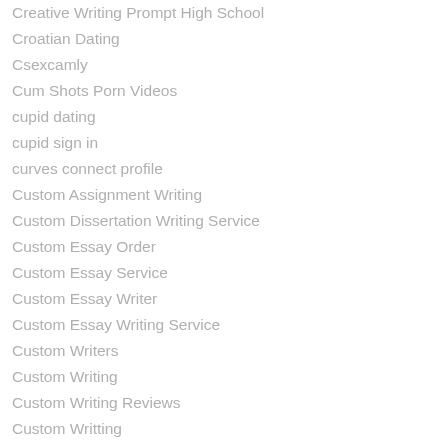Creative Writing Prompt High School
Croatian Dating
Csexcamly
Cum Shots Porn Videos
cupid dating
cupid sign in
curves connect profile
Custom Assignment Writing
Custom Dissertation Writing Service
Custom Essay Order
Custom Essay Service
Custom Essay Writer
Custom Essay Writing Service
Custom Writers
Custom Writing
Custom Writing Reviews
Custom Writting
Custome Writing